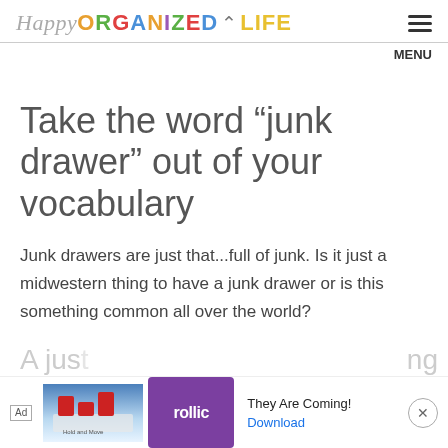Happy ORGANIZED LIFE  MENU
Take the word “junk drawer” out of your vocabulary
Junk drawers are just that...full of junk. Is it just a midwestern thing to have a junk drawer or is this something common all over the world?
[Figure (screenshot): Advertisement banner at bottom of page: Ad label, game screenshot, Rollic logo, 'They Are Coming!' text, Download link, close button]